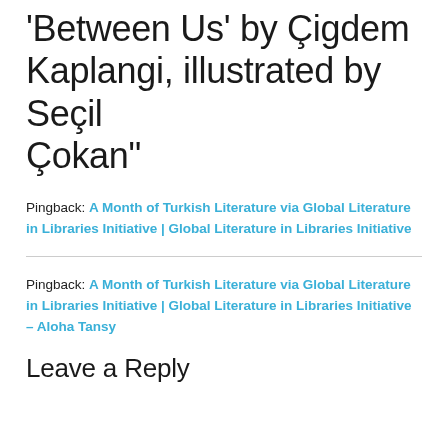'Between Us' by Çigdem Kaplangi, illustrated by Seçil Çokan"
Pingback: A Month of Turkish Literature via Global Literature in Libraries Initiative | Global Literature in Libraries Initiative
Pingback: A Month of Turkish Literature via Global Literature in Libraries Initiative | Global Literature in Libraries Initiative – Aloha Tansy
Leave a Reply